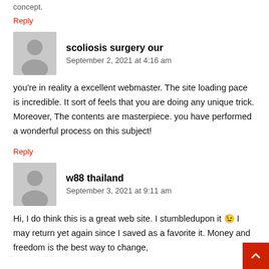concept.
Reply
scoliosis surgery our
September 2, 2021 at 4:16 am
you're in reality a excellent webmaster. The site loading pace is incredible. It sort of feels that you are doing any unique trick. Moreover, The contents are masterpiece. you have performed a wonderful process on this subject!
Reply
w88 thailand
September 3, 2021 at 9:11 am
Hi, I do think this is a great web site. I stumbledupon it 😉 I may return yet again since I saved as a favorite it. Money and freedom is the best way to change,